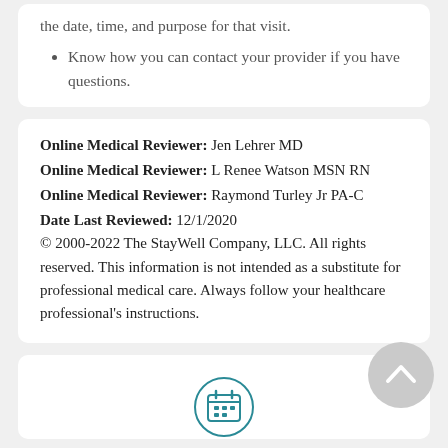Know how you can contact your provider if you have questions.
Online Medical Reviewer: Jen Lehrer MD
Online Medical Reviewer: L Renee Watson MSN RN
Online Medical Reviewer: Raymond Turley Jr PA-C
Date Last Reviewed: 12/1/2020
© 2000-2022 The StayWell Company, LLC. All rights reserved. This information is not intended as a substitute for professional medical care. Always follow your healthcare professional's instructions.
[Figure (illustration): Teal circular calendar icon at the bottom center of the page, and a gray circular back-to-top button at the bottom right.]